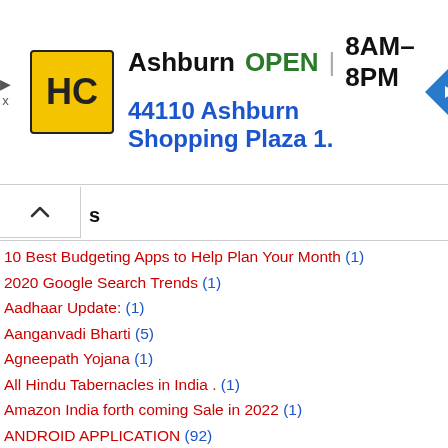[Figure (other): Ad banner for HC store in Ashburn. Yellow HC logo, text: Ashburn OPEN 8AM–8PM, 44110 Ashburn Shopping Plaza 1., navigation diamond icon.]
10 Best Budgeting Apps to Help Plan Your Month (1)
2020 Google Search Trends (1)
Aadhaar Update: (1)
Aanganvadi Bharti (5)
Agneepath Yojana (1)
All Hindu Tabernacles in India . (1)
Amazon India forth coming Sale in 2022 (1)
ANDROID APPLICATION (92)
android applications to send greetings (1)
AnyRoR (4)
APL Ration Card To BPL Ration Card Convert Process In Gujarat (1)
application (22)
applications to send greetings (1)